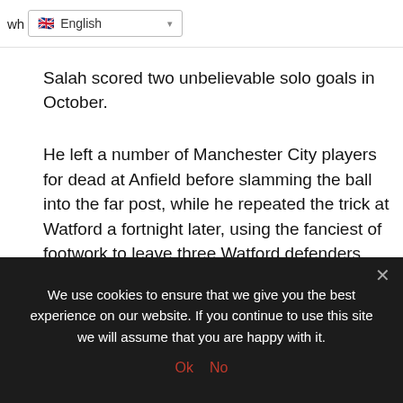wh English
Salah scored two unbelievable solo goals in October.
He left a number of Manchester City players for dead at Anfield before slamming the ball into the far post, while he repeated the trick at Watford a fortnight later, using the fanciest of footwork to leave three Watford defenders bamboozled before once again expertly picking out the far corner.
We use cookies on our website to give you the most relevant experience by remembering your preferences and repeat visits. By clicking “Accept”, you consent to the use
We use cookies to ensure that we give you the best experience on our website. If you continue to use this site we will assume that you are happy with it. Ok No